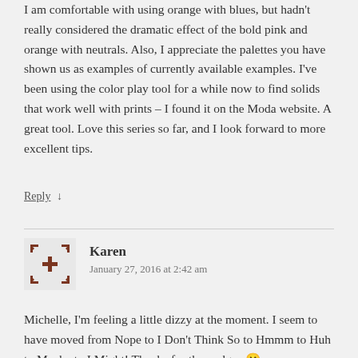I am comfortable with using orange with blues, but hadn't really considered the dramatic effect of the bold pink and orange with neutrals. Also, I appreciate the palettes you have shown us as examples of currently available examples. I've been using the color play tool for a while now to find solids that work well with prints – I found it on the Moda website. A great tool. Love this series so far, and I look forward to more excellent tips.
Reply ↓
[Figure (other): Default avatar icon with expand arrows on corners, brown/dark red color scheme]
Karen
January 27, 2016 at 2:42 am
Michelle, I'm feeling a little dizzy at the moment. I seem to have moved from Nope to I Don't Think So to Hmmm to Huh to Maybe to I Might! Thanks for the nudges 🙂